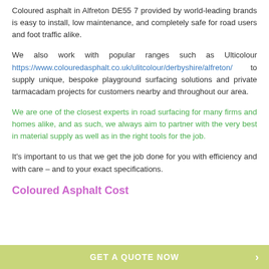Coloured asphalt in Alfreton DE55 7 provided by world-leading brands is easy to install, low maintenance, and completely safe for road users and foot traffic alike.
We also work with popular ranges such as Ulticolour https://www.colouredasphalt.co.uk/ulitcolour/derbyshire/alfreton/ to supply unique, bespoke playground surfacing solutions and private tarmacadam projects for customers nearby and throughout our area.
We are one of the closest experts in road surfacing for many firms and homes alike, and as such, we always aim to partner with the very best in material supply as well as in the right tools for the job.
It's important to us that we get the job done for you with efficiency and with care – and to your exact specifications.
Coloured Asphalt Cost
GET A QUOTE NOW